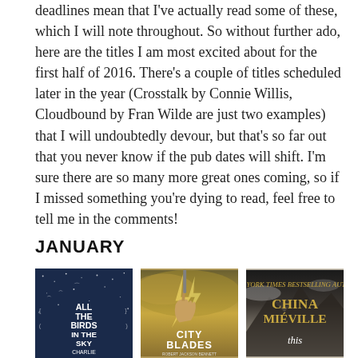deadlines mean that I've actually read some of these, which I will note throughout. So without further ado, here are the titles I am most excited about for the first half of 2016. There's a couple of titles scheduled later in the year (Crosstalk by Connie Willis, Cloudbound by Fran Wilde are just two examples) that I will undoubtedly devour, but that's so far out that you never know if the pub dates will shift. I'm sure there are so many more great ones coming, so if I missed something you're dying to read, feel free to tell me in the comments!
JANUARY
[Figure (photo): Three book covers side by side: 'All the Birds in the Sky' by Charlie (dark blue starry background with white text), 'City Blades' by Robert Jackson Bennett (yellowish-brown tones with a hand holding a blade and lightning), and a China Miéville book titled 'This' (dark mountain/cloud imagery with gold text)]